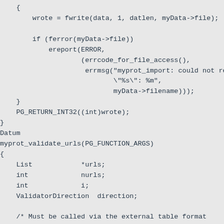{
        wrote = fwrite(data, 1, datlen, myData->file);

        if (ferror(myData->file))
            ereport(ERROR,
                    (errcode_for_file_access(),
                     errmsg("myprot_import: could not read fro
                            \"%s\": %m",
                            myData->filename)));
    }
    PG_RETURN_INT32((int)wrote);
}
Datum
myprot_validate_urls(PG_FUNCTION_ARGS)
{
    List            *urls;
    int             nurls;
    int             i;
    ValidatorDirection  direction;

    /* Must be called via the external table format
    if (!CALLED_AS_EXTPROTOCOL_VALIDATOR(fcinfo))
        elog(ERROR, "myprot_validate_urls: not called
             protocol manager");